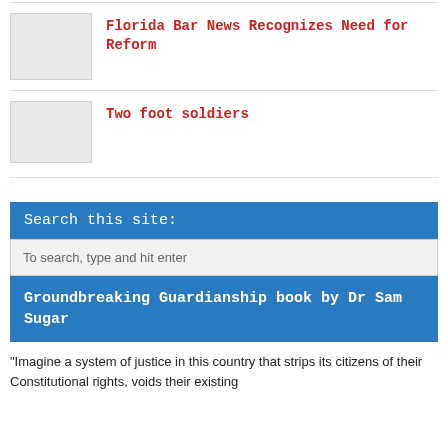[Figure (photo): Thumbnail image placeholder for article about Florida Bar News]
Florida Bar News Recognizes Need for Reform
[Figure (photo): Thumbnail image placeholder for article about Two foot soldiers]
Two foot soldiers
Search this site:
To search, type and hit enter
Groundbreaking Guardianship book by Dr Sam Sugar
"Imagine a system of justice in this country that strips its citizens of their Constitutional rights, voids their existing